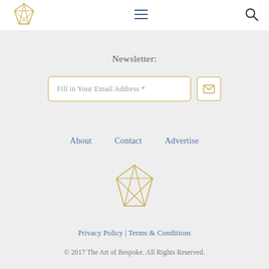[Figure (logo): Geometric diamond/gem outline logo in gold]
[Figure (other): Hamburger menu icon (three horizontal lines) in dark blue-gray]
[Figure (other): Search magnifying glass icon in dark gray]
Newsletter:
Fill in Your Email Address *
[Figure (other): Email/envelope icon in gold]
About
Contact
Advertise
[Figure (logo): Larger geometric diamond/gem outline logo in gold]
Privacy Policy | Terms & Conditions
© 2017 The Art of Bespoke. All Rights Reserved.